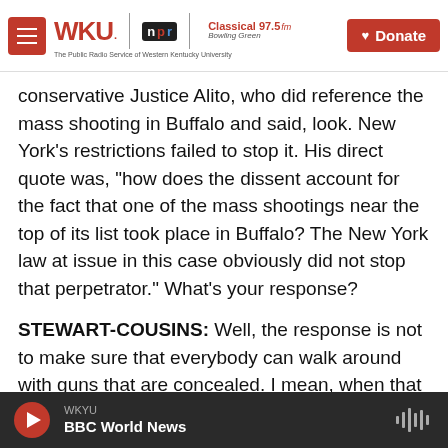[Figure (screenshot): WKU NPR Classical 97.5 FM radio station header bar with hamburger menu, logos, and red Donate button]
conservative Justice Alito, who did reference the mass shooting in Buffalo and said, look. New York's restrictions failed to stop it. His direct quote was, "how does the dissent account for the fact that one of the mass shootings near the top of its list took place in Buffalo? The New York law at issue in this case obviously did not stop that perpetrator." What's your response?
STEWART-COUSINS: Well, the response is not to make sure that everybody can walk around with guns that are concealed. I mean, when that tragedy occurred in Buffalo, what we did as a legislature
[Figure (screenshot): Audio player bar showing WKYU BBC World News with play button and waveform icon]